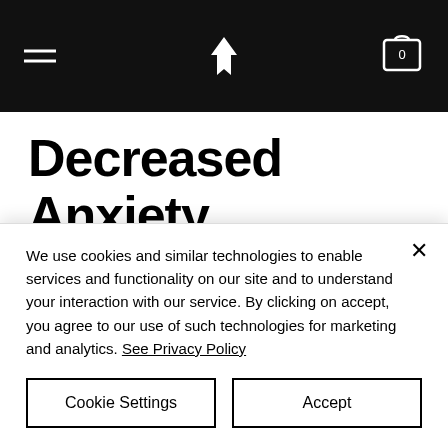[Navigation header with hamburger menu, logo, and cart icon]
Decreased Anxiety
Within a 12-week period of working in our programs, resilience profiles show increased levels of toughness.
We use cookies and similar technologies to enable services and functionality on our site and to understand your interaction with our service. By clicking on accept, you agree to our use of such technologies for marketing and analytics. See Privacy Policy